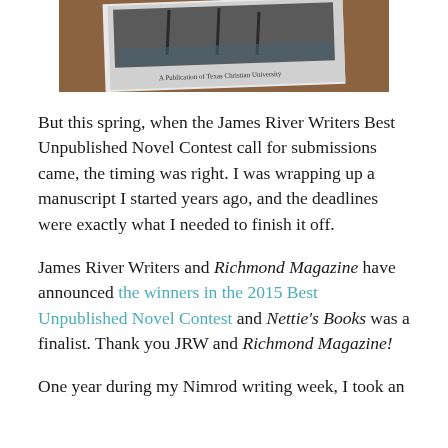[Figure (photo): A photograph of a literary magazine or publication from Texas Christian University, partially visible at the top of the page, placed on a wooden surface.]
But this spring, when the James River Writers Best Unpublished Novel Contest call for submissions came, the timing was right. I was wrapping up a manuscript I started years ago, and the deadlines were exactly what I needed to finish it off.
James River Writers and Richmond Magazine have announced the winners in the 2015 Best Unpublished Novel Contest and Nettie's Books was a finalist. Thank you JRW and Richmond Magazine!
One year during my Nimrod writing week, I took an